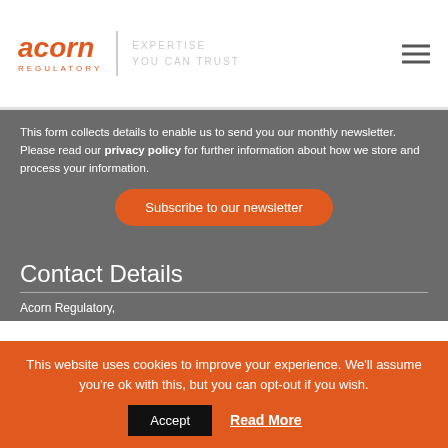acorn REGULATORY | EXPERTISE YOU CAN TRUST
This form collects details to enable us to send you our monthly newsletter. Please read our privacy policy for further information about how we store and process your information.
Subscribe to our newsletter
Contact Details
Acorn Regulatory,
This website uses cookies to improve your experience. We'll assume you're ok with this, but you can opt-out if you wish.
Accept   Read More